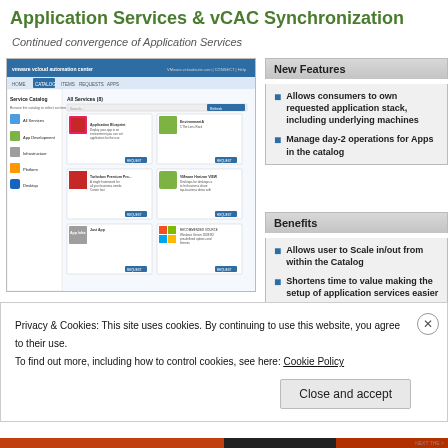Application Services & vCAC Synchronization
Continued convergence of Application Services
[Figure (screenshot): Screenshot of VMware vCloud Automation Center catalog UI showing service items]
New Features
Allows consumers to own requested application stack, including underlying machines
Manage day-2 operations for Apps in the catalog
Benefits
Allows user to Scale in/out from within the Catalog
Shortens time to value making the setup of application services easier
Privacy & Cookies: This site uses cookies. By continuing to use this website, you agree to their use.
To find out more, including how to control cookies, see here: Cookie Policy
Close and accept